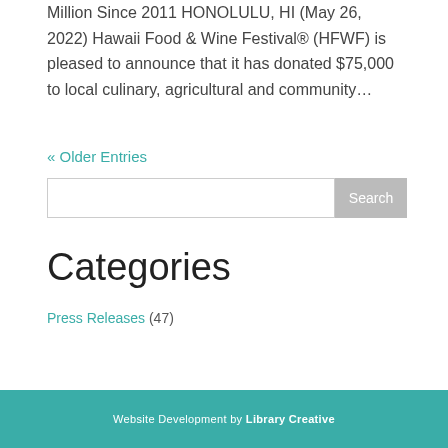Million Since 2011 HONOLULU, HI (May 26, 2022) Hawaii Food & Wine Festival® (HFWF) is pleased to announce that it has donated $75,000 to local culinary, agricultural and community…
« Older Entries
Categories
Press Releases (47)
Website Development by Library Creative